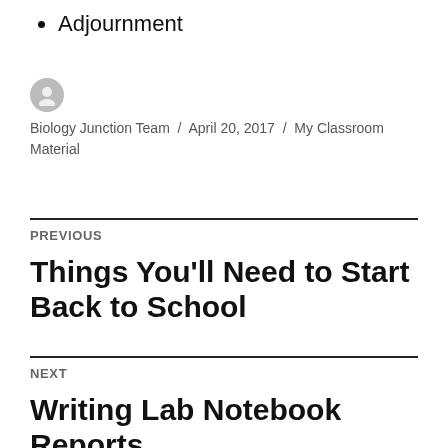Adjournment
Biology Junction Team / April 20, 2017 / My Classroom Material
PREVIOUS
Things You'll Need to Start Back to School
NEXT
Writing Lab Notebook Reports